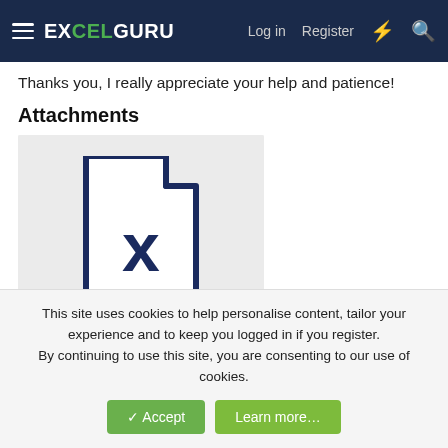EXCELGURU  Log in  Register
Thanks you, I really appreciate your help and patience!
Attachments
[Figure (illustration): Excel file attachment icon showing a document with an X, labeled 'Test book2.xlsx']
This site uses cookies to help personalise content, tailor your experience and to keep you logged in if you register.
By continuing to use this site, you are consenting to our use of cookies.